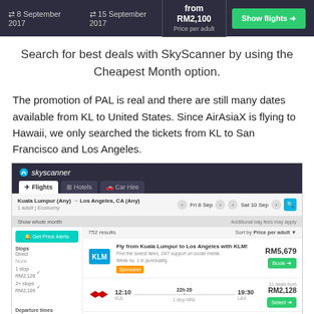[Figure (screenshot): Top navigation bar of a flight search interface showing dates 8 September 2017 and 15 September 2017, price from RM2,100 per adult, and a green Show flights button]
Search for best deals with SkyScanner by using the Cheapest Month option.
The promotion of PAL is real and there are still many dates available from KL to United States. Since AirAsiaX is flying to Hawaii, we only searched the tickets from KL to San Francisco and Los Angeles.
[Figure (screenshot): Skyscanner search results page showing Kuala Lumpur (Any) to Los Angeles, CA (Any), 1 adult Economy, Fri 8 Sep to Sat 10 Sep. Results include KLM advertisement at RM5,679 and Philippine Airlines flights at 12:10-19:30 (22h 20m, 1 stop MNL) from RM2,128 with Select button, and 23:00 LAX to 11:00 KUL (21h, 1 stop MNL).]